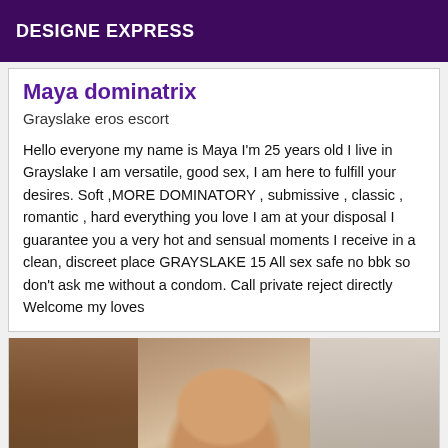DESIGNE EXPRESS
Maya dominatrix
Grayslake eros escort
Hello everyone my name is Maya I'm 25 years old I live in Grayslake I am versatile, good sex, I am here to fulfill your desires. Soft ,MORE DOMINATORY , submissive , classic , romantic , hard everything you love I am at your disposal I guarantee you a very hot and sensual moments I receive in a clean, discreet place GRAYSLAKE 15 All sex safe no bbk so don't ask me without a condom. Call private reject directly Welcome my loves
[Figure (photo): Partial photo of a person, cropped at the bottom of the page, showing face and upper body against a brown wall background]